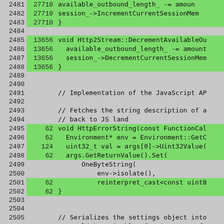[Figure (screenshot): Code coverage viewer showing C++ source code lines 2481-2507. Lines with green background have execution counts (27710, 13656, 62, 124). White/gray lines have no count and contain comments or blank lines. The code shows Http2Stream increment/decrement methods and HttpErrorString function.]